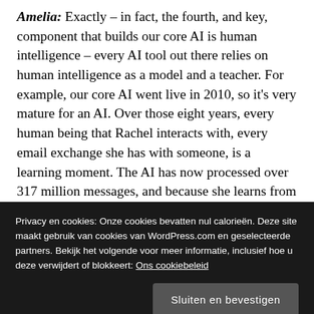Amelia: Exactly – in fact, the fourth, and key, component that builds our core AI is human intelligence – every AI tool out there relies on human intelligence as a model and a teacher. For example, our core AI went live in 2010, so it's very mature for an AI. Over those eight years, every human being that Rachel interacts with, every email exchange she has with someone, is a learning moment. The AI has now processed over 317 million messages, and because she learns from every one of those messages, her artificial intelligence increases from the plethora of touch points she has with human intelligence. The incredible thing about an AI like Conversica is that it continues to
Privacy en cookies: Onze cookies bevatten nul calorieën. Deze site maakt gebruik van cookies van WordPress.com en geselecteerde partners. Bekijk het volgende voor meer informatie, inclusief hoe u deze verwijdert of blokkeert: Ons cookiebeleid
Virtuele assistent Billie